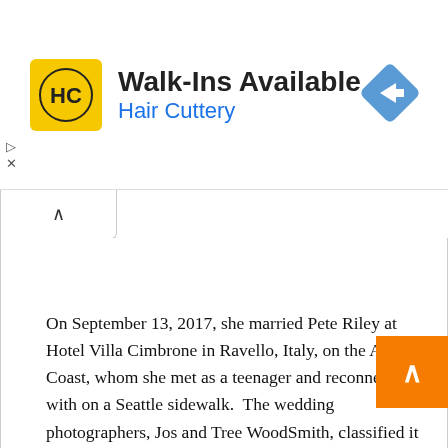[Figure (advertisement): Hair Cuttery advertisement banner with yellow HC logo, text 'Walk-Ins Available' and 'Hair Cuttery', and a blue direction/navigation diamond icon on the right]
On September 13, 2017, she married Pete Riley at Hotel Villa Cimbrone in Ravello, Italy, on the Amalfi Coast, whom she met as a teenager and reconnected with on a Seattle sidewalk.  The wedding photographers, Jos and Tree WoodSmith, classified it as an elopement because there were no guests. As of 2022, they have no children.